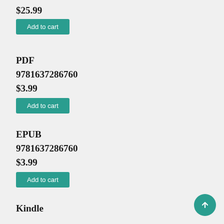$25.99
Add to cart
PDF
9781637286760
$3.99
Add to cart
EPUB
9781637286760
$3.99
Add to cart
Kindle
9781637286760
$3.99
Add to cart